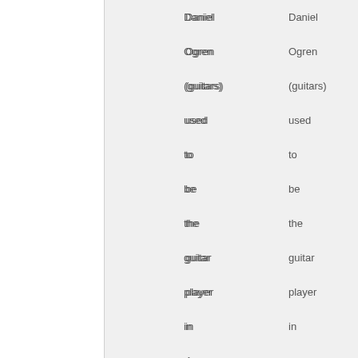Daniel Ogren (guitars) used to be the guitar player in Anna Von Hausswolff's band. He has also been heavily involved in the recordings of the